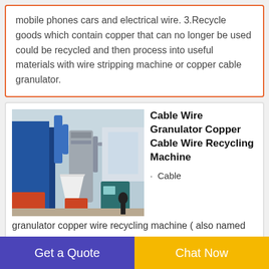mobile phones cars and electrical wire. 3.Recycle goods which contain copper that can no longer be used could be recycled and then process into useful materials with wire stripping machine or copper cable granulator.
[Figure (photo): Photo of a cable wire granulator / copper cable wire recycling machine in an industrial warehouse setting, with blue machinery and various equipment visible.]
Cable Wire Granulator Copper Cable Wire Recycling Machine
Cable granulator copper wire recycling machine ( also named Cable Wire Granulator ) is a kind of machinery used for recycling waste scrap copper wire and cables to get copper
Get a Quote
Chat Now